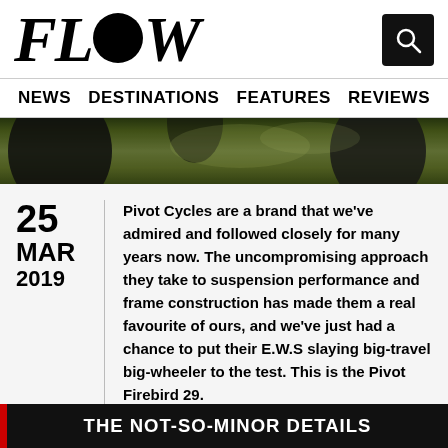FLOW
NEWS  DESTINATIONS  FEATURES  REVIEWS
[Figure (photo): Close-up photo of a mountain bike wheel/tire against a background of green foliage and trees]
Pivot Cycles are a brand that we've admired and followed closely for many years now. The uncompromising approach they take to suspension performance and frame construction has made them a real favourite of ours, and we've just had a chance to put their E.W.S slaying big-travel big-wheeler to the test. This is the Pivot Firebird 29.
THE NOT-SO-MINOR DETAILS